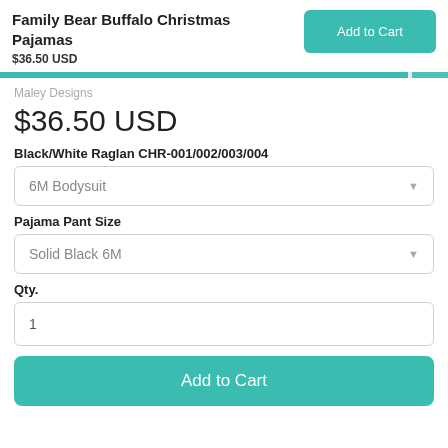Family Bear Buffalo Christmas Pajamas $36.50 USD
Add to Cart
Maley Designs
$36.50 USD
Black/White Raglan CHR-001/002/003/004
6M Bodysuit
Pajama Pant Size
Solid Black 6M
Qty.
1
Add to Cart